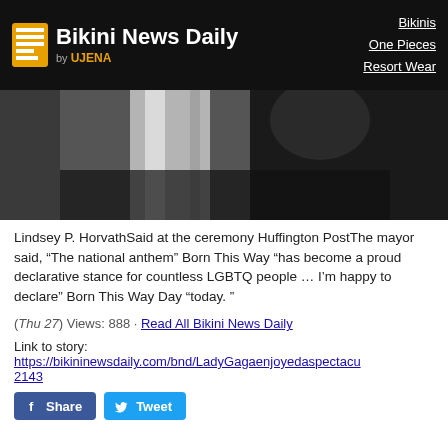Bikini News Daily by UJENA | Bikinis | One Pieces | Resort Wear
[Figure (photo): Dark photo showing a person in black outfit at a ceremony, partial body visible]
Lindsey P. HorvathSaid at the ceremony Huffington PostThe mayor said, “The national anthem” Born This Way “has become a proud declarative stance for countless LGBTQ people … I’m happy to declare” Born This Way Day “today. ”
(Thu 27) Views: 888 · Read All Bikini News Daily
Link to story:
https://bikininewsdaily.com/bnd/LadyGagaenjoyedaspectacu2143
[Figure (other): Facebook Share button and Twitter Tweet button]